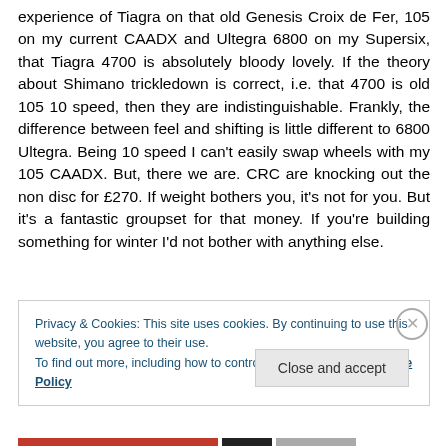experience of Tiagra on that old Genesis Croix de Fer, 105 on my current CAADX and Ultegra 6800 on my Supersix, that Tiagra 4700 is absolutely bloody lovely. If the theory about Shimano trickledown is correct, i.e. that 4700 is old 105 10 speed, then they are indistinguishable. Frankly, the difference between feel and shifting is little different to 6800 Ultegra. Being 10 speed I can't easily swap wheels with my 105 CAADX. But, there we are. CRC are knocking out the non disc for £270. If weight bothers you, it's not for you. But it's a fantastic groupset for that money. If you're building something for winter I'd not bother with anything else.
Privacy & Cookies: This site uses cookies. By continuing to use this website, you agree to their use.
To find out more, including how to control cookies, see here: Cookie Policy